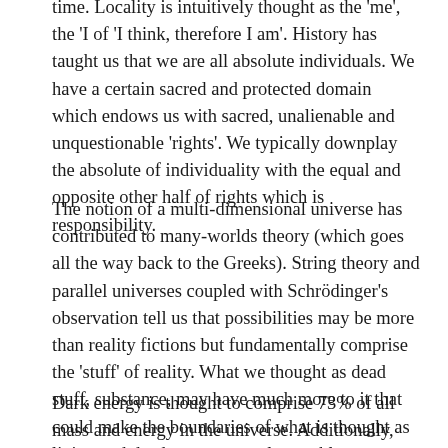time. Locality is intuitively thought as the 'me', the 'I of 'I think, therefore I am'. History has taught us that we are all absolute individuals. We have a certain sacred and protected domain which endows us with sacred, unalienable and unquestionable 'rights'. We typically downplay the absolute of individuality with the equal and opposite other half of rights which is responsibility.
The notion of a multi-dimensional universe has contributed to many-worlds theory (which goes all the way back to the Greeks). String theory and parallel universes coupled with Schrödinger's observation tell us that possibilities may be more than reality fictions but fundamentally comprise the 'stuff' of reality. What we thought as dead stuff, substance, may have much more to it that could make the boundaries of what is thought as living and dead a more complex problem.
Dark energy is thought to comprise 73% of all mass and energy in the universe. Additionally, dark matter is thought to...